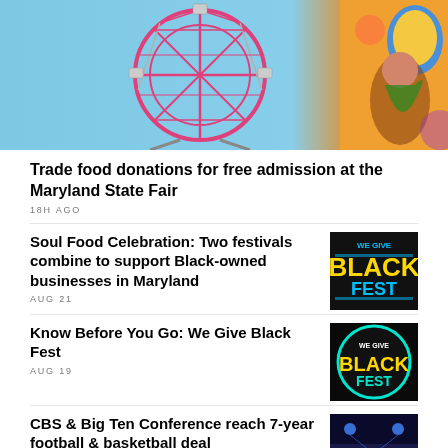[Figure (photo): Ferris wheel with pink structure against blue sky, colorful mural on right side]
Trade food donations for free admission at the Maryland State Fair
18H AGO
Soul Food Celebration: Two festivals combine to support Black-owned businesses in Maryland
AUG 21
[Figure (logo): We Give Black Fest logo on dark background]
Know Before You Go: We Give Black Fest
AUG 19
[Figure (logo): We Give Black Fest logo in circular design with teal border]
CBS & Big Ten Conference reach 7-year football & basketball deal
[Figure (photo): Stadium or sports venue at night with blue lighting]